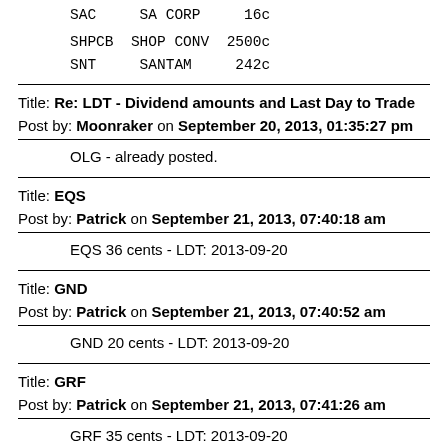SAC    SA CORP    16c
SHPCB  SHOP CONV  2500c
SNT    SANTAM     242c
Title: Re: LDT - Dividend amounts and Last Day to Trade
Post by: Moonraker on September 20, 2013, 01:35:27 pm
OLG - already posted.
Title: EQS
Post by: Patrick on September 21, 2013, 07:40:18 am
EQS 36 cents - LDT: 2013-09-20
Title: GND
Post by: Patrick on September 21, 2013, 07:40:52 am
GND 20 cents - LDT: 2013-09-20
Title: GRF
Post by: Patrick on September 21, 2013, 07:41:26 am
GRF 35 cents - LDT: 2013-09-20